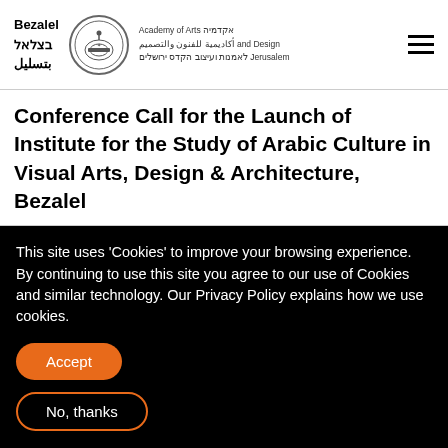Bezalel בצלאל بتسليل | Academy of Arts אקדמיה أكاديمية للفنون والتصميم and Design לאמנות ועיצוב הקדס ירושלים Jerusalem
Conference Call for the Launch of Institute for the Study of Arabic Culture in Visual Arts, Design & Architecture, Bezalel
This site uses 'Cookies' to improve your browsing experience. By continuing to use this site you agree to our use of Cookies and similar technology. Our Privacy Policy explains how we use cookies.
Accept
No, thanks
Learn More